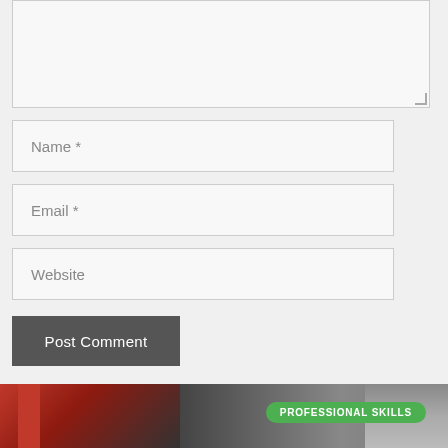[Figure (screenshot): Textarea input box (comment field), partially visible at top of page, with resize handle at bottom right]
Name *
Email *
Website
Post Comment
[Figure (photo): Photo of a man with a mustache in a workshop/garage setting, with a green badge overlay reading PROFESSIONAL SKILLS]